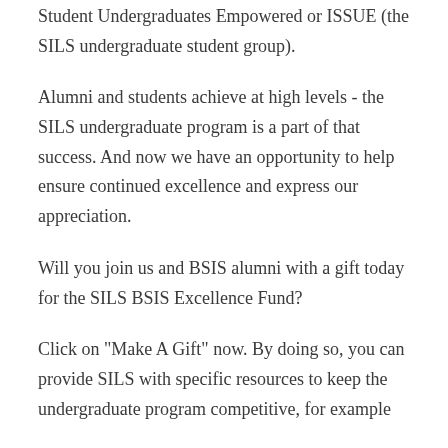Student Undergraduates Empowered or ISSUE (the SILS undergraduate student group).
Alumni and students achieve at high levels - the SILS undergraduate program is a part of that success. And now we have an opportunity to help ensure continued excellence and express our appreciation.
Will you join us and BSIS alumni with a gift today for the SILS BSIS Excellence Fund?
Click on "Make A Gift" now. By doing so, you can provide SILS with specific resources to keep the undergraduate program competitive, for example